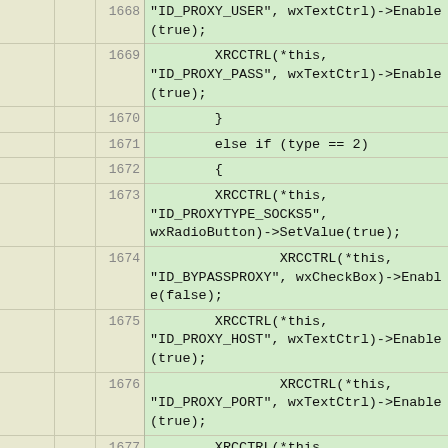[Figure (screenshot): Source code listing showing C++ code lines 1668-1678 with line numbers and green highlighted code background. Code shows XRCCTRL calls enabling/disabling proxy-related wxWidgets controls.]